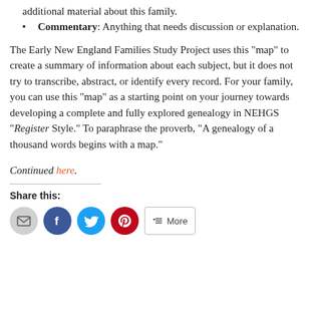additional material about this family.
Commentary: Anything that needs discussion or explanation.
The Early New England Families Study Project uses this “map” to create a summary of information about each subject, but it does not try to transcribe, abstract, or identify every record. For your family, you can use this “map” as a starting point on your journey towards developing a complete and fully explored genealogy in NEHGS “Register Style.” To paraphrase the proverb, “A genealogy of a thousand words begins with a map.”
Continued here.
Share this:
[Figure (infographic): Share buttons row: email (grey circle), Facebook (blue circle), Twitter (cyan circle), Pinterest (red circle), More (rounded rectangle button)]